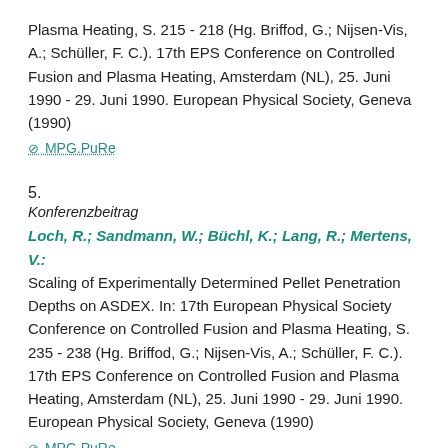Plasma Heating, S. 215 - 218 (Hg. Briffod, G.; Nijsen-Vis, A.; Schüller, F. C.). 17th EPS Conference on Controlled Fusion and Plasma Heating, Amsterdam (NL), 25. Juni 1990 - 29. Juni 1990. European Physical Society, Geneva (1990)
⊘ MPG.PuRe
5.
Konferenzbeitrag
Loch, R.; Sandmann, W.; Büchl, K.; Lang, R.; Mertens, V.: Scaling of Experimentally Determined Pellet Penetration Depths on ASDEX. In: 17th European Physical Society Conference on Controlled Fusion and Plasma Heating, S. 235 - 238 (Hg. Briffod, G.; Nijsen-Vis, A.; Schüller, F. C.). 17th EPS Conference on Controlled Fusion and Plasma Heating, Amsterdam (NL), 25. Juni 1990 - 29. Juni 1990. European Physical Society, Geneva (1990)
⊘ MPG.PuRe